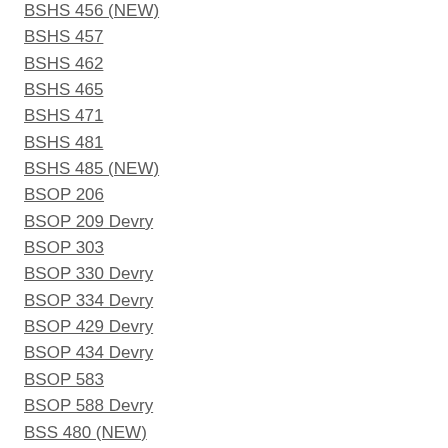BSHS 456 (NEW)
BSHS 457
BSHS 462
BSHS 465
BSHS 471
BSHS 481
BSHS 485 (NEW)
BSOP 206
BSOP 209 Devry
BSOP 303
BSOP 330 Devry
BSOP 334 Devry
BSOP 429 Devry
BSOP 434 Devry
BSOP 583
BSOP 588 Devry
BSS 480 (NEW)
BSS 481